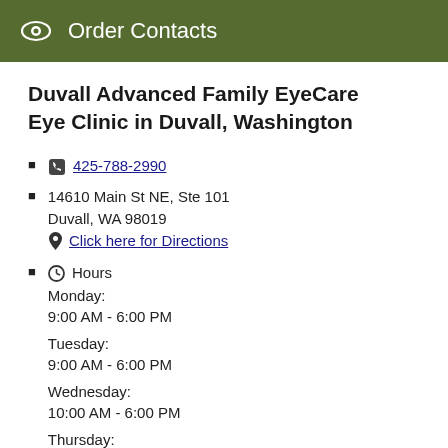Order Contacts
Duvall Advanced Family EyeCare Eye Clinic in Duvall, Washington
📞 425-788-2990
14610 Main St NE, Ste 101 Duvall, WA 98019 Click here for Directions
Hours Monday: 9:00 AM - 6:00 PM Tuesday: 9:00 AM - 6:00 PM Wednesday: 10:00 AM - 6:00 PM Thursday: 10:00 AM - 7:00 PM Friday: